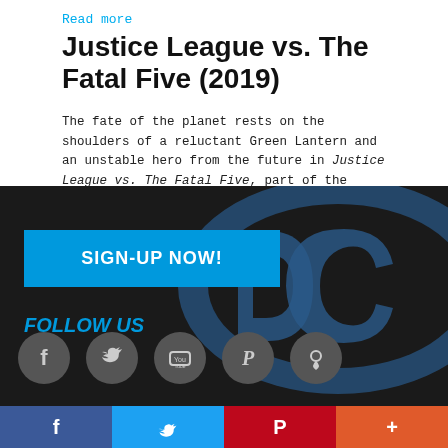Read more
Justice League vs. The Fatal Five (2019)
The fate of the planet rests on the shoulders of a reluctant Green Lantern and an unstable hero from the future in Justice League vs. The Fatal Five, part of the popular series of DC Universe Movies.
Read more
« first  ‹ previous  1  2  3  4  next ›  last »
[Figure (logo): DC Comics logo watermark in dark blue on black background]
SIGN-UP NOW!
FOLLOW US
[Figure (infographic): Social media icons: Facebook, Twitter, YouTube, Pinterest, Swarm/Foursquare]
f  Twitter bird  P  +